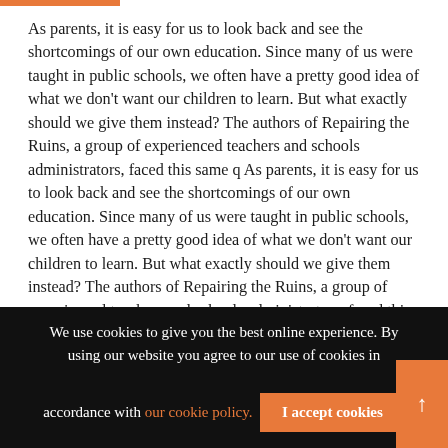As parents, it is easy for us to look back and see the shortcomings of our own education. Since many of us were taught in public schools, we often have a pretty good idea of what we don't want our children to learn. But what exactly should we give them instead? The authors of Repairing the Ruins, a group of experienced teachers and schools administrators, faced this same q As parents, it is easy for us to look back and see the shortcomings of our own education. Since many of us were taught in public schools, we often have a pretty good idea of what we don't want our children to learn. But what exactly should we give them instead? The authors of Repairing the Ruins, a group of experienced teachers and schools administrators, faced this same
We use cookies to give you the best online experience. By using our website you agree to our use of cookies in accordance with our cookie policy.